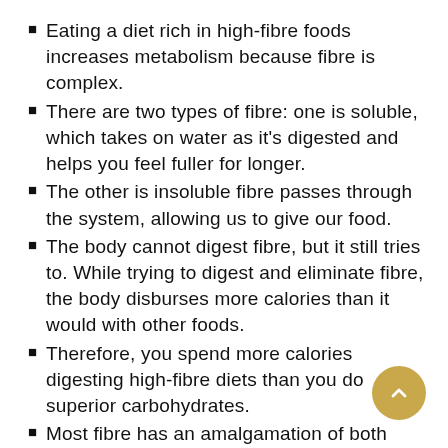Eating a diet rich in high-fibre foods increases metabolism because fibre is complex.
There are two types of fibre: one is soluble, which takes on water as it's digested and helps you feel fuller for longer.
The other is insoluble fibre passes through the system, allowing us to give our food.
The body cannot digest fibre, but it still tries to. While trying to digest and eliminate fibre, the body disburses more calories than it would with other foods.
Therefore, you spend more calories digesting high-fibre diets than you do superior carbohydrates.
Most fibre has an amalgamation of both soluble and insoluble fibres. Foods higher in insoluble fibre include wheat bran, beans, cauliflower, and apples.
While soluble fibre is generated in brown rice, oat bran, and artichokes, you can see a chart of all